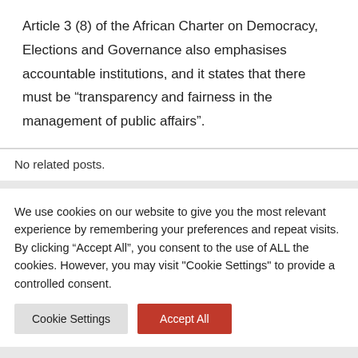Article 3 (8) of the African Charter on Democracy, Elections and Governance also emphasises accountable institutions, and it states that there must be “transparency and fairness in the management of public affairs”.
No related posts.
We use cookies on our website to give you the most relevant experience by remembering your preferences and repeat visits. By clicking “Accept All”, you consent to the use of ALL the cookies. However, you may visit "Cookie Settings" to provide a controlled consent.